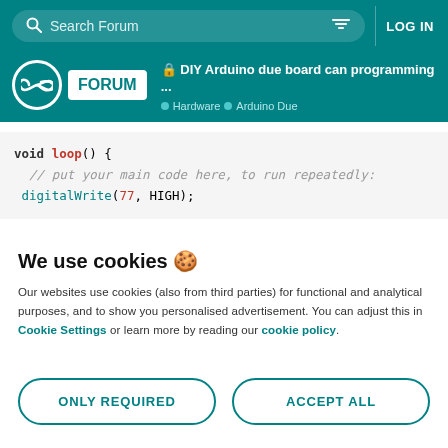Search Forum | LOG IN
DIY Arduino due board can programming ... | Hardware | Arduino Due
[Figure (screenshot): Arduino forum code snippet showing void loop() { // put your main code here, to run repeatedly: digitalWrite(77, HIGH); }]
We use cookies 🍪
Our websites use cookies (also from third parties) for functional and analytical purposes, and to show you personalised advertisement. You can adjust this in Cookie Settings or learn more by reading our cookie policy.
ONLY REQUIRED
ACCEPT ALL